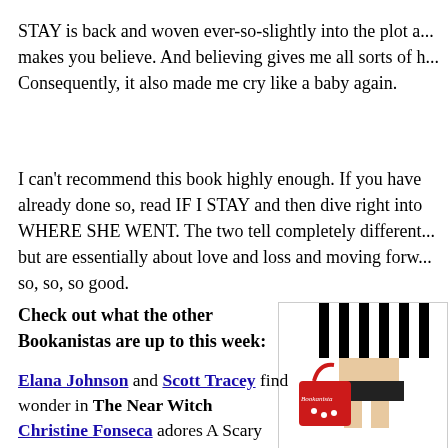STAY is back and woven ever-so-slightly into the plot a... makes you believe. And believing gives me all sorts of h... Consequently, it also made me cry like a baby again.
I can't recommend this book highly enough. If you have already done so, read IF I STAY and then dive right into WHERE SHE WENT. The two tell completely different... but are essentially about love and loss and moving forw... so, so, so good.
Check out what the other Bookanistas are up to this week:
[Figure (illustration): Bookanistas logo illustration: woman in black-and-white striped outfit holding a red bag with 'Bookanistas' text]
Elana Johnson and Scott Tracey find wonder in The Near Witch
Christine Fonseca adores A Scary Scene in a Scary...